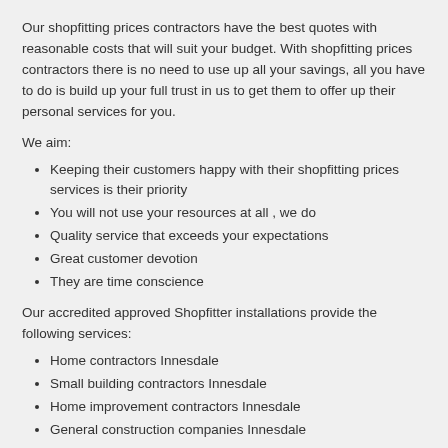Our shopfitting prices contractors have the best quotes with reasonable costs that will suit your budget. With shopfitting prices contractors there is no need to use up all your savings, all you have to do is build up your full trust in us to get them to offer up their personal services for you.
We aim:
Keeping their customers happy with their shopfitting prices services is their priority
You will not use your resources at all , we do
Quality service that exceeds your expectations
Great customer devotion
They are time conscience
Our accredited approved Shopfitter installations provide the following services:
Home contractors Innesdale
Small building contractors Innesdale
Home improvement contractors Innesdale
General construction companies Innesdale
Top construction companies Innesdale
Road building companies Innesdale
Home builders Innesdale
Master builders Innesdale
Shopfitting Innesdale
Construction companies Innesdale
Retail shopfitting Innesdale